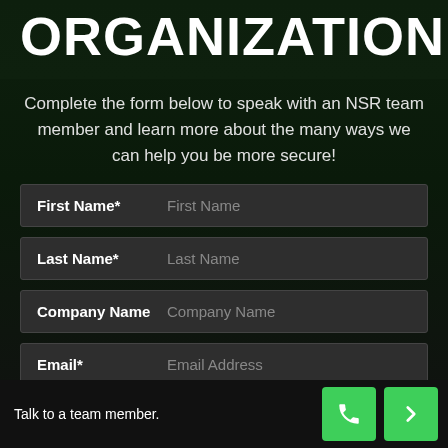ORGANIZATION
Complete the form below to speak with an NSR team member and learn more about the many ways we can help you be more secure!
First Name*   First Name
Last Name*   Last Name
Company Name   Company Name
Email*   Email Address
Talk to a team member.